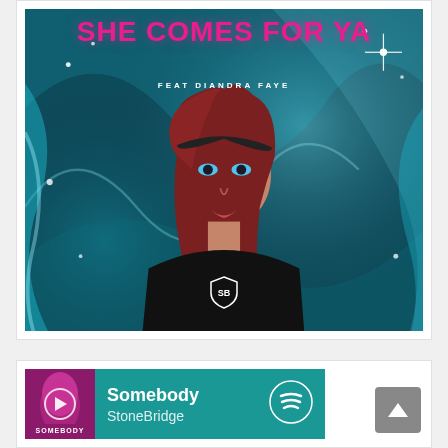[Figure (illustration): Music single cover art for 'She Comes For Ya' feat. Diandra Faye. Teal/cyan abstract background with light streaks and star-like sparkles. A young woman with long reddish-brown hair and blue eyes is centered. Pink/magenta bold title text at top reads 'SHE COMES FOR YA', subtitle 'FEAT DIANDRA FAYE'. A shield-shaped logo with 'SB' initials at bottom center.]
[Figure (screenshot): Spotify player bar showing track 'Somebody' by StoneBridge. Teal background with album thumbnail on left (pink/purple woman silhouette with 'SOMEBODY' text). Spotify logo icon on right. Play button circle overlay on thumbnail.]